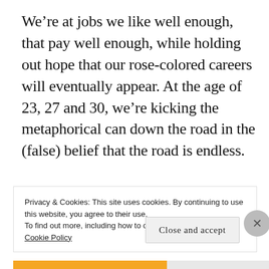We're at jobs we like well enough, that pay well enough, while holding out hope that our rose-colored careers will eventually appear. At the age of 23, 27 and 30, we're kicking the metaphorical can down the road in the (false) belief that the road is endless.
[Figure (other): A blue 'Apply' button and a circular avatar photo of a man thinking with hand on chin, shown partially]
Privacy & Cookies: This site uses cookies. By continuing to use this website, you agree to their use.
To find out more, including how to control cookies, see here:
Cookie Policy
Close and accept